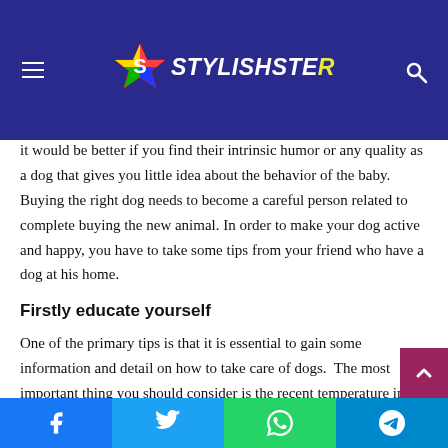STYLISHSTER (logo header with navigation)
it would be better if you find their intrinsic humor or any quality as a dog that gives you little idea about the behavior of the baby. Buying the right dog needs to become a careful person related to complete buying the new animal. In order to make your dog active and happy, you have to take some tips from your friend who have a dog at his home.
Firstly educate yourself
One of the primary tips is that it is essential to gain some information and detail on how to take care of dogs.  The most important thing you should consider is the recent temperature in your area and which breed is suitable for your home environment. If you are looking for a sensitive and polite dog, then you should educate yourself and list out the available breeds.
Facebook | Twitter | WhatsApp | Telegram